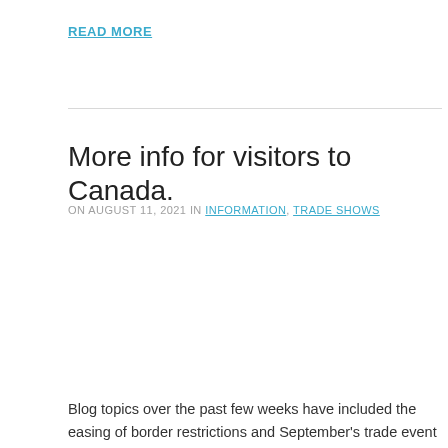READ MORE
More info for visitors to Canada.
ON AUGUST 11, 2021 IN INFORMATION, TRADE SHOWS
Blog topics over the past few weeks have included the easing of border restrictions and September's trade event